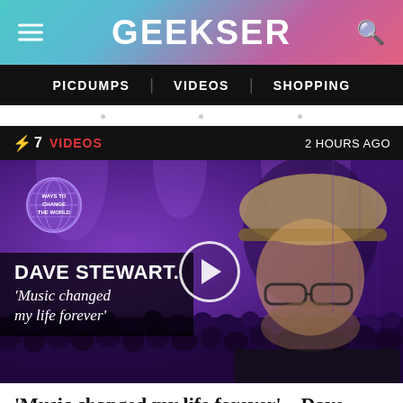GEEKSER
PICDUMPS | VIDEOS | SHOPPING
⚡7  VIDEOS  2 HOURS AGO
[Figure (screenshot): Video thumbnail showing Dave Stewart wearing a wide-brim hat and glasses against a purple concert background. Text overlay reads: DAVE STEWART. 'Music changed my life forever'. A circular play button is visible in the center. A globe logo badge labeled 'WAYS TO CHANGE THE WORLD' appears top-left.]
'Music changed my life forever' – Dave Stewart